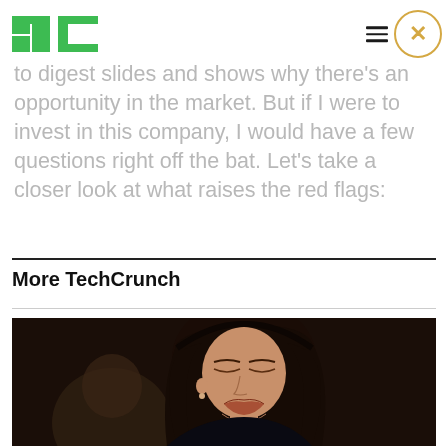TechCrunch
to digest slides and shows why there's an opportunity in the market. But if I were to invest in this company, I would have a few questions right off the bat. Let's take a closer look at what raises the red flags:
More TechCrunch
[Figure (photo): Woman with dark hair looking downward, appears to be at a hearing or formal proceeding. Dark background.]